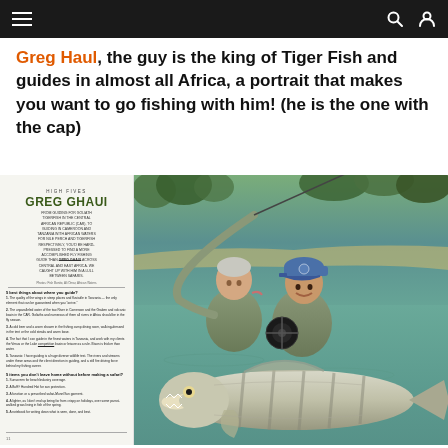Navigation bar with hamburger menu, search and user icons
Greg Haul, the guy is the king of Tiger Fish and guides in almost all Africa, a portrait that makes you want to go fishing with him! (he is the one with the cap)
[Figure (photo): Magazine spread showing Greg Ghaui article - High Fives section. Left side shows the magazine page with text about Greg Ghaui, a fly fishing guide in Central and East Africa. Right side is a photograph of two men standing in water holding a large tiger fish, one older man kissing the cheek of a younger man wearing a blue cap and holding a fly fishing reel. The fish is enormous, silver in color.]